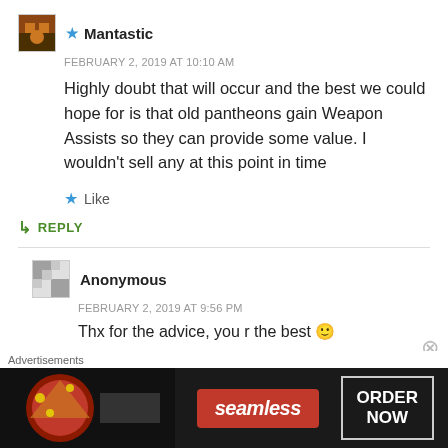★ Mantastic
FEBRUARY 2, 2019 AT 10:10 AM
Highly doubt that will occur and the best we could hope for is that old pantheons gain Weapon Assists so they can provide some value. I wouldn't sell any at this point in time
★ Like
↳ REPLY
Anonymous
FEBRUARY 2, 2019 AT 9:56 PM
Thx for the advice, you r the best 🙂
Advertisements